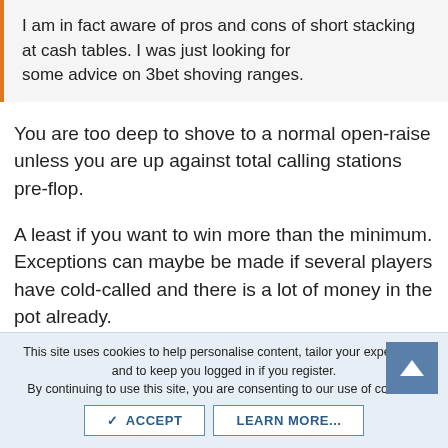I am in fact aware of pros and cons of short stacking at cash tables. I was just looking for some advice on 3bet shoving ranges.
You are too deep to shove to a normal open-raise unless you are up against total calling stations pre-flop.
A least if you want to win more than the minimum. Exceptions can maybe be made if several players have cold-called and there is a lot of money in the pot already.
If I notice that you only shove with a value range his thin I can exploit you by raising and folding anything but aces or kings to a shove. Since I only have invested an open-raise I can even fold AK and QQ if you don't start to bluff and still make a
This site uses cookies to help personalise content, tailor your experience and to keep you logged in if you register.
By continuing to use this site, you are consenting to our use of cookies.